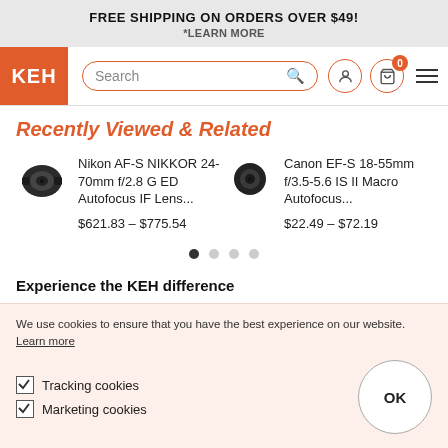FREE SHIPPING ON ORDERS OVER $49!
*LEARN MORE
[Figure (logo): KEH camera store logo and navigation bar with search field, user icon, cart icon with badge 0, and hamburger menu]
Recently Viewed & Related
Nikon AF-S NIKKOR 24-70mm f/2.8 G ED Autofocus IF Lens...
$621.83 – $775.54
Canon EF-S 18-55mm f/3.5-5.6 IS II Macro Autofocus...
$22.49 – $72.19
Experience the KEH difference
We use cookies to ensure that you have the best experience on our website. Learn more
Tracking cookies
Marketing cookies
OK